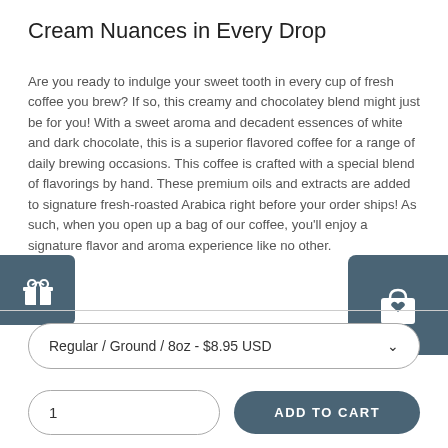Cream Nuances in Every Drop
Are you ready to indulge your sweet tooth in every cup of fresh coffee you brew? If so, this creamy and chocolatey blend might just be for you! With a sweet aroma and decadent essences of white and dark chocolate, this is a superior flavored coffee for a range of daily brewing occasions. This coffee is crafted with a special blend of flavorings by hand. These premium oils and extracts are added to signature fresh-roasted Arabica right before your order ships! As such, when you open up a bag of our coffee, you'll enjoy a signature flavor and aroma experience like no other.
Regular / Ground / 8oz - $8.95 USD
1
ADD TO CART